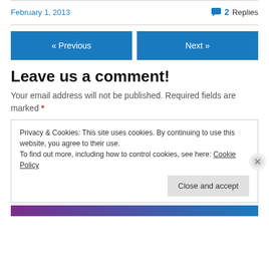February 1, 2013
2 Replies
« Previous
Next »
Leave us a comment!
Your email address will not be published. Required fields are marked *
Privacy & Cookies: This site uses cookies. By continuing to use this website, you agree to their use.
To find out more, including how to control cookies, see here: Cookie Policy
Close and accept